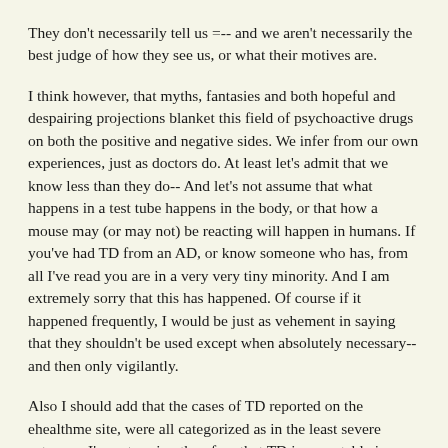They don't necessarily tell us =-- and we aren't necessarily the best judge of how they see us, or what their motives are.
I think however, that myths, fantasies and both hopeful and despairing projections blanket this field of psychoactive drugs on both the positive and negative sides. We infer from our own experiences, just as doctors do. At least let's admit that we know less than they do-- And let's not assume that what happens in a test tube happens in the body, or that how a mouse may (or may not) be reacting will happen in humans. If you've had TD from an AD, or know someone who has, from all I've read you are in a very very tiny minority. And I am extremely sorry that this has happened. Of course if it happened frequently, I would be just as vehement in saying that they shouldn't be used except when absolutely necessary-- and then only vigilantly.
Also I should add that the cases of TD reported on the ehealthme site, were all categorized as in the least severe category. I'm not saying therefore that TD is acceptable in any category-- but that you have to weight risks and benefits in any sphere, and it seems